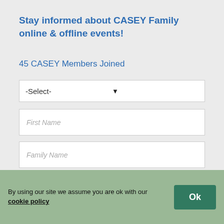Stay informed about CASEY Family online & offline events!
45 CASEY Members Joined
[Figure (screenshot): Dropdown select box with placeholder text '-Select-' and a downward arrow on the right]
[Figure (screenshot): Text input field with placeholder 'First Name']
[Figure (screenshot): Text input field with placeholder 'Family Name']
I'd like to join the CASEY family leadership team of 3 members
Question of the day
Would you consider yourself a friend of the countries associated with the origin of your family name?
By using our site we assume you are ok with our cookie policy